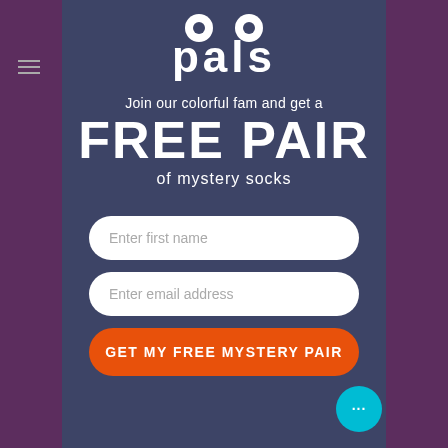[Figure (logo): Pals brand logo with cartoon eyes above the text 'pals']
Join our colorful fam and get a
FREE PAIR
of mystery socks
Enter first name
Enter email address
GET MY FREE MYSTERY PAIR